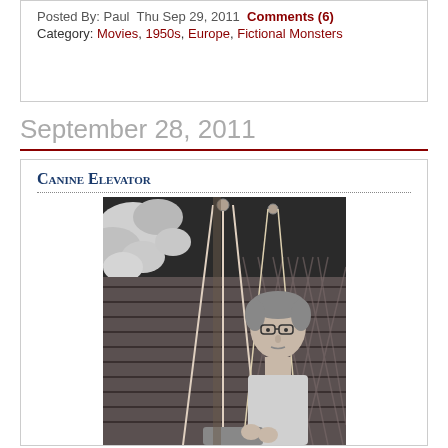Posted By: Paul  Thu Sep 29, 2011  Comments (6)
Category: Movies, 1950s, Europe, Fictional Monsters
September 28, 2011
Canine Elevator
[Figure (photo): Black and white photograph showing a person wearing glasses operating ropes/pulleys, with leafy plants visible in the upper left and a lattice structure in the background.]